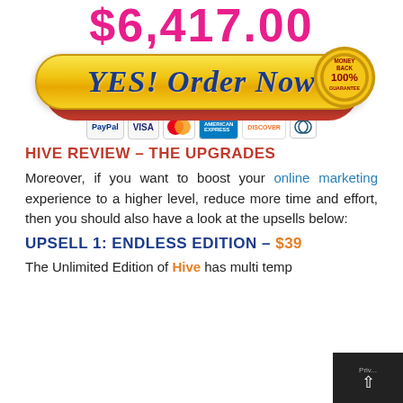$6,417.00
[Figure (illustration): Yellow 'YES! Order Now' button with red shadow, 100% Money Back Guarantee badge, and payment icons: PayPal, VISA, Mastercard, American Express, Discover, Diners Club]
HIVE REVIEW – THE UPGRADES
Moreover, if you want to boost your online marketing experience to a higher level, reduce more time and effort, then you should also have a look at the upsells below:
UPSELL 1: ENDLESS EDITION – $39
The Unlimited Edition of Hive has multi temp